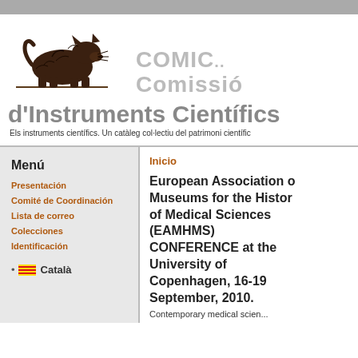[Figure (logo): COMIC Comissió d'Instruments Científics logo with a crouching animal illustration and site name]
Els instruments científics. Un catàleg col·lectiu del patrimoni científic
Inicio
Menú
Presentación
Comité de Coordinación
Lista de correo
Colecciones
Identificación
Català
European Association of Museums for the History of Medical Sciences (EAMHMS) CONFERENCE at the University of Copenhagen, 16-19 September, 2010.
Contemporary medical scien...